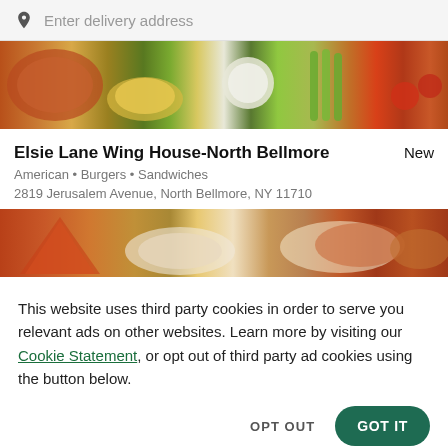Enter delivery address
[Figure (photo): Food spread with wings, vegetables, dipping sauce, celery sticks, carrots, salad greens, and tomatoes viewed from above]
Elsie Lane Wing House-North Bellmore
New
American • Burgers • Sandwiches
2819 Jerusalem Avenue, North Bellmore, NY 11710
[Figure (photo): Food photo showing pizza, chicken wings and other dishes on plates]
This website uses third party cookies in order to serve you relevant ads on other websites. Learn more by visiting our Cookie Statement, or opt out of third party ad cookies using the button below.
OPT OUT
GOT IT